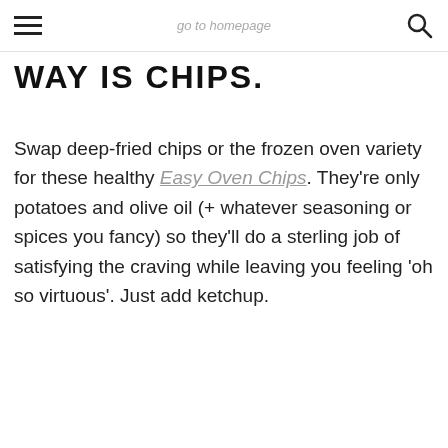go to homepage
WAY IS CHIPS.
Swap deep-fried chips or the frozen oven variety for these healthy Easy Oven Chips. They're only potatoes and olive oil (+ whatever seasoning or spices you fancy) so they'll do a sterling job of satisfying the craving while leaving you feeling 'oh so virtuous'. Just add ketchup.